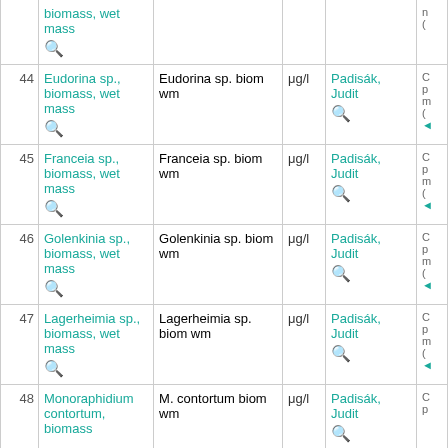| # | Name | Description | Unit | Author | More |
| --- | --- | --- | --- | --- | --- |
|  | biomass, wet mass 🔍 |  |  |  | n ( |
| 44 | Eudorina sp., biomass, wet mass 🔍 | Eudorina sp. biom wm | μg/l | Padisák, Judit 🔍 | C p m ( |
| 45 | Franceia sp., biomass, wet mass 🔍 | Franceia sp. biom wm | μg/l | Padisák, Judit 🔍 | C p m ( |
| 46 | Golenkinia sp., biomass, wet mass 🔍 | Golenkinia sp. biom wm | μg/l | Padisák, Judit 🔍 | C p m ( |
| 47 | Lagerheimia sp., biomass, wet mass 🔍 | Lagerheimia sp. biom wm | μg/l | Padisák, Judit 🔍 | C p m ( |
| 48 | Monoraphidium contortum, biomass 🔍 | M. contortum biom wm | μg/l | Padisák, Judit 🔍 | C p |